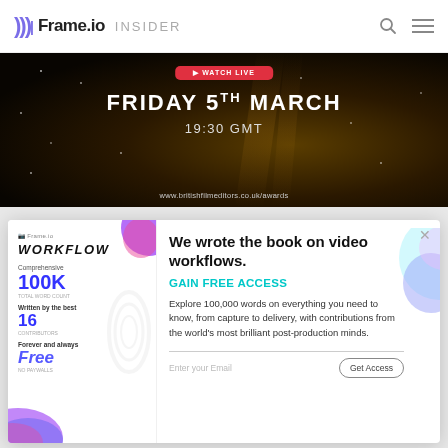Frame.io INSIDER
[Figure (screenshot): Event banner with dark background showing 'FRIDAY 5TH MARCH 19:30 GMT' and URL www.britishfilmeditors.co.uk/awards]
[Figure (screenshot): Modal popup for Frame.io Workflow book promotion. Left panel shows book cover with WORKFLOW title, 100K words, 16 contributors, Free. Right panel has headline 'We wrote the book on video workflows.', GAIN FREE ACCESS CTA, body text, and email signup form with Get Access button.]
We wrote the book on video workflows.
GAIN FREE ACCESS
Explore 100,000 words on everything you need to know, from capture to delivery, with contributions from the world's most brilliant post-production minds.
Enter your Email
Get Access